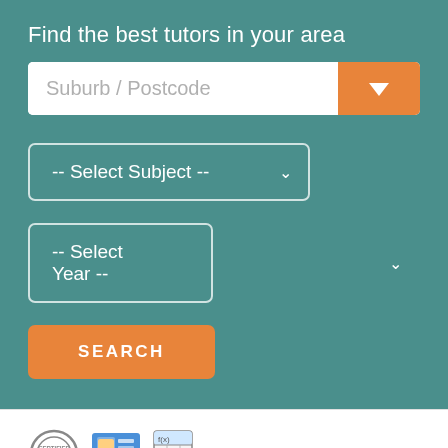Find the best tutors in your area
[Figure (screenshot): Search bar with placeholder text 'Suburb / Postcode' and an orange dropdown button with a white chevron arrow]
[Figure (screenshot): Dropdown select box labeled '-- Select Subject --' with a white chevron on teal background]
[Figure (screenshot): Dropdown select box labeled '-- Select Year --' with a white chevron on teal background]
[Figure (screenshot): Orange 'SEARCH' button]
[Figure (screenshot): Three icons: a certified stamp icon, a profile card icon, and a calculator/spreadsheet icon]
Subjects and Years:
Primary Maths (F-6)